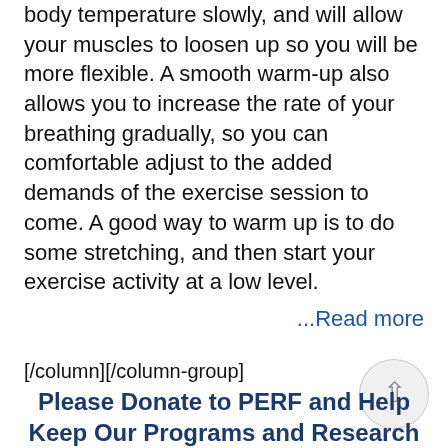body temperature slowly, and will allow your muscles to loosen up so you will be more flexible. A smooth warm-up also allows you to increase the rate of your breathing gradually, so you can comfortable adjust to the added demands of the exercise session to come. A good way to warm up is to do some stretching, and then start your exercise activity at a low level.
...Read more
[/column][/column-group]
Please Donate to PERF and Help Keep Our Programs and Research